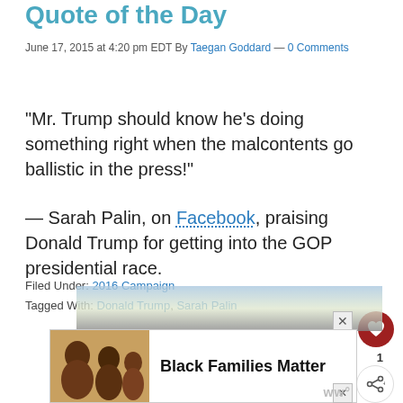Quote of the Day
June 17, 2015 at 4:20 pm EDT By Taegan Goddard — 0 Comments
“Mr. Trump should know he’s doing something right when the malcontents go ballistic in the press!”
— Sarah Palin, on Facebook, praising Donald Trump for getting into the GOP presidential race.
Filed Under: 2016 Campaign
Tagged With: Donald Trump, Sarah Palin
[Figure (photo): Advertisement banner at bottom of page featuring Black Families Matter text and a photo of a family]